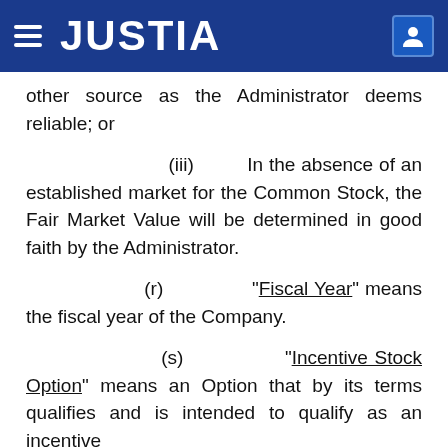JUSTIA
other source as the Administrator deems reliable; or
(iii) In the absence of an established market for the Common Stock, the Fair Market Value will be determined in good faith by the Administrator.
(r) “Fiscal Year” means the fiscal year of the Company.
(s) “Incentive Stock Option” means an Option that by its terms qualifies and is intended to qualify as an incentive